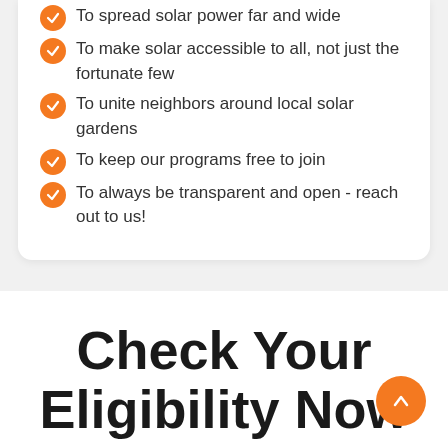To spread solar power far and wide
To make solar accessible to all, not just the fortunate few
To unite neighbors around local solar gardens
To keep our programs free to join
To always be transparent and open - reach out to us!
Check Your Eligibility Now